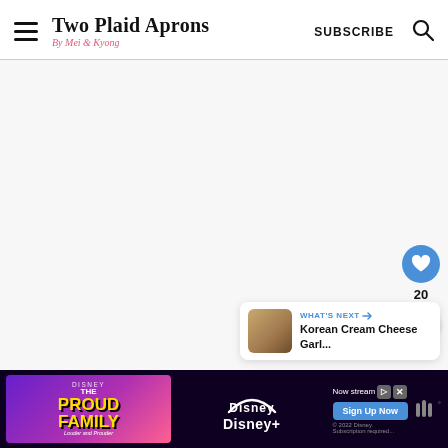Two Plaid Aprons | By Mei & Kyong | SUBSCRIBE
[Figure (screenshot): Main content area - large empty/whitespace area of the website]
[Figure (infographic): Floating action buttons: heart icon (blue circle) with count 20, and share icon (white circle)]
[Figure (infographic): What's Next panel showing Korean Cream Cheese Garl... with thumbnail]
[Figure (infographic): Disney+ The Proud Family advertisement banner at bottom with Sign Up Now button]